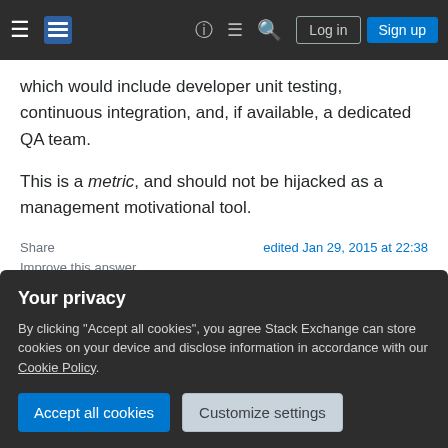Stack Exchange navigation bar with hamburger menu, logo, help, chat, search icons, Log in and Sign up buttons
which would include developer unit testing, continuous integration, and, if available, a dedicated QA team.
This is a metric, and should not be hijacked as a management motivational tool.
Share
Improve this answer
Follow
edited Jan 29, 2015 at 22:38
answered Jan 29, 2015 at 3:52
Your privacy
By clicking "Accept all cookies", you agree Stack Exchange can store cookies on your device and disclose information in accordance with our Cookie Policy.
Accept all cookies
Customize settings
and schedule. And even if you were given the budget